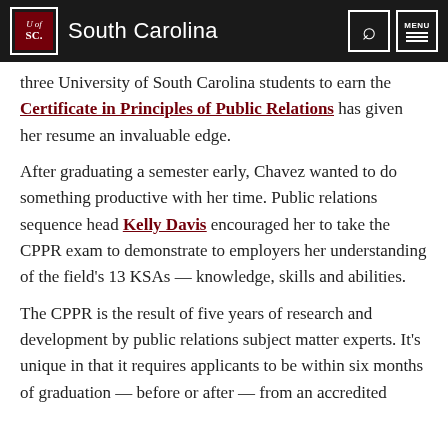University of South Carolina
three University of South Carolina students to earn the Certificate in Principles of Public Relations has given her resume an invaluable edge.
After graduating a semester early, Chavez wanted to do something productive with her time. Public relations sequence head Kelly Davis encouraged her to take the CPPR exam to demonstrate to employers her understanding of the field's 13 KSAs — knowledge, skills and abilities.
The CPPR is the result of five years of research and development by public relations subject matter experts. It's unique in that it requires applicants to be within six months of graduation — before or after — from an accredited